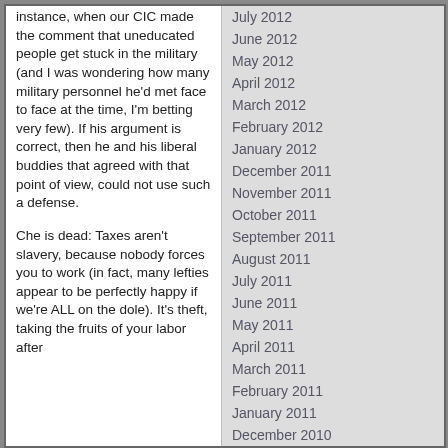instance, when our CIC made the comment that uneducated people get stuck in the military (and I was wondering how many military personnel he'd met face to face at the time, I'm betting very few). If his argument is correct, then he and his liberal buddies that agreed with that point of view, could not use such a defense.
Che is dead: Taxes aren't slavery, because nobody forces you to work (in fact, many lefties appear to be perfectly happy if we're ALL on the dole). It's theft, taking the fruits of your labor after
July 2012
June 2012
May 2012
April 2012
March 2012
February 2012
January 2012
December 2011
November 2011
October 2011
September 2011
August 2011
July 2011
June 2011
May 2011
April 2011
March 2011
February 2011
January 2011
December 2010
November 2010